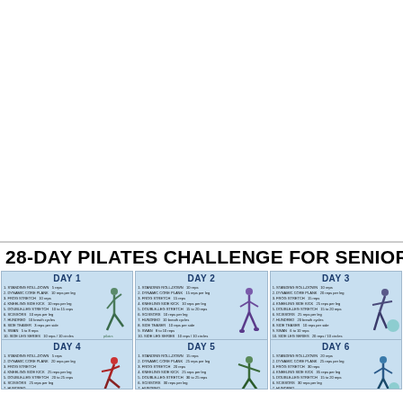28-DAY PILATES CHALLENGE FOR SENIORS
[Figure (infographic): 28-Day Pilates Challenge for Seniors infographic showing daily exercise plans for Days 1-6, each with a list of exercises and reps, and an illustration of a person performing a Pilates pose.]